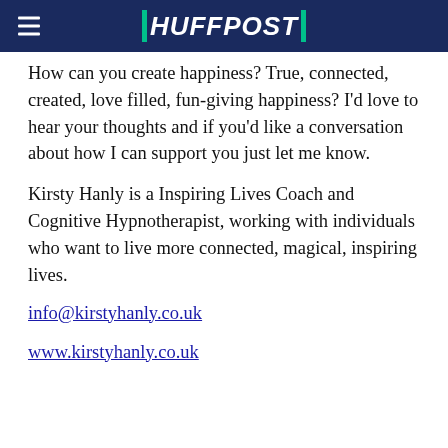HUFFPOST
How can you create happiness? True, connected, created, love filled, fun-giving happiness? I'd love to hear your thoughts and if you'd like a conversation about how I can support you just let me know.
Kirsty Hanly is a Inspiring Lives Coach and Cognitive Hypnotherapist, working with individuals who want to live more connected, magical, inspiring lives.
info@kirstyhanly.co.uk
www.kirstyhanly.co.uk